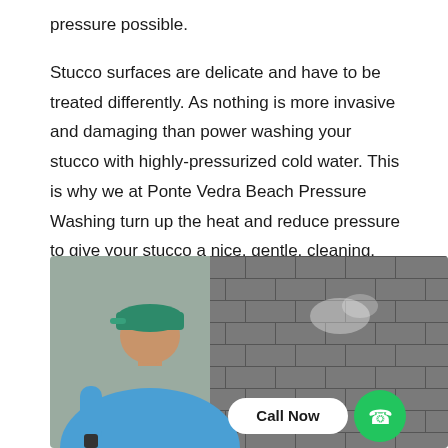pressure possible.

Stucco surfaces are delicate and have to be treated differently. As nothing is more invasive and damaging than power washing your stucco with highly-pressurized cold water. This is why we at Ponte Vedra Beach Pressure Washing turn up the heat and reduce pressure to give your stucco a nice, gentle, cleaning.
[Figure (photo): A person wearing a green cap and blue shirt power washing a stone/brick wall. A 'Call Now' button and green phone icon are overlaid at the bottom right of the image.]